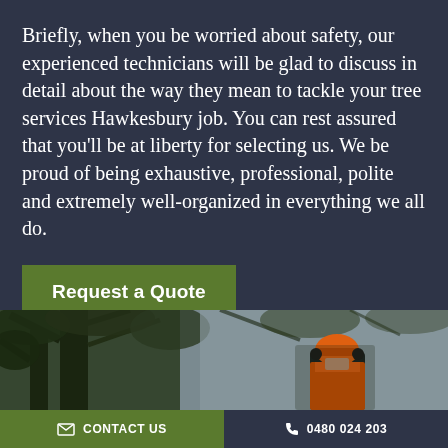Briefly, when you be worried about safety, our experienced technicians will be glad to discuss in detail about the way they mean to tackle your tree services Hawkesbury job. You can rest assured that you'll be at liberty for selecting us. We be proud of being exhaustive, professional, polite and extremely well-organized in everything we all do.
Request a Quote
[Figure (photo): An arborist in orange safety helmet and high-visibility jacket working in a tree canopy, photographed from below with green tree branches visible against a grey sky.]
CONTACT US
0480 024 203